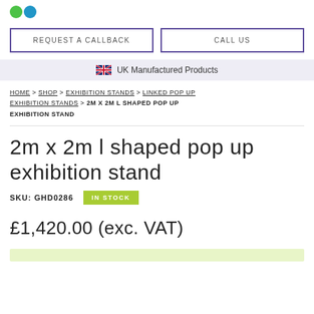[logo]
REQUEST A CALLBACK | CALL US
UK Manufactured Products
HOME > SHOP > EXHIBITION STANDS > LINKED POP UP EXHIBITION STANDS > 2M X 2M L SHAPED POP UP EXHIBITION STAND
2m x 2m l shaped pop up exhibition stand
SKU: GHD0286   IN STOCK
£1,420.00 (exc. VAT)